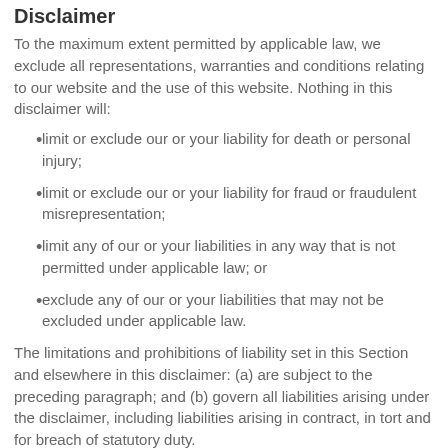Disclaimer
To the maximum extent permitted by applicable law, we exclude all representations, warranties and conditions relating to our website and the use of this website. Nothing in this disclaimer will:
limit or exclude our or your liability for death or personal injury;
limit or exclude our or your liability for fraud or fraudulent misrepresentation;
limit any of our or your liabilities in any way that is not permitted under applicable law; or
exclude any of our or your liabilities that may not be excluded under applicable law.
The limitations and prohibitions of liability set in this Section and elsewhere in this disclaimer: (a) are subject to the preceding paragraph; and (b) govern all liabilities arising under the disclaimer, including liabilities arising in contract, in tort and for breach of statutory duty.
As long as the website and the information and services on the website are provided free of charge, we will not be liable